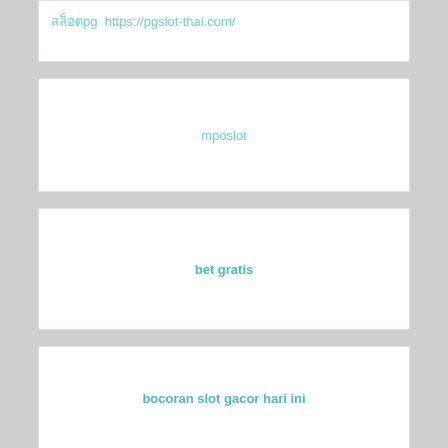สล็อตpg https://pgslot-thai.com/
mposlot
bet gratis
bocoran slot gacor hari ini